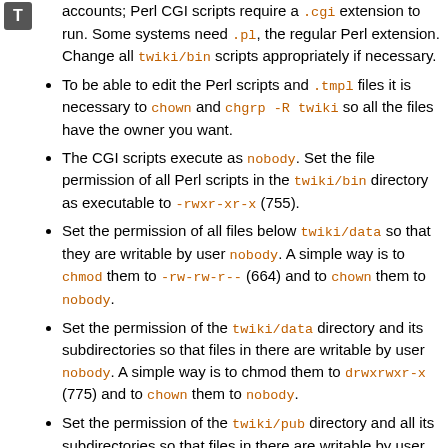accounts; Perl CGI scripts require a .cgi extension to run. Some systems need .pl, the regular Perl extension. Change all twiki/bin scripts appropriately if necessary.
To be able to edit the Perl scripts and .tmpl files it is necessary to chown and chgrp -R twiki so all the files have the owner you want.
The CGI scripts execute as nobody. Set the file permission of all Perl scripts in the twiki/bin directory as executable to -rwxr-xr-x (755).
Set the permission of all files below twiki/data so that they are writable by user nobody. A simple way is to chmod them to -rw-rw-r-- (664) and to chown them to nobody.
Set the permission of the twiki/data directory and its subdirectories so that files in there are writable by user nobody. A simple way is to chmod them to drwxrwxr-x (775) and to chown them to nobody.
Set the permission of the twiki/pub directory and all its subdirectories so that files in there are writable by user nobody. A simple way is to chmod them to drwxrwxr-x (775) and to chown them to nobody.